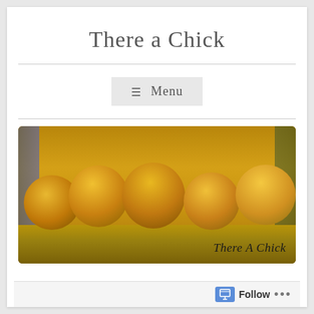There a Chick
≡ Menu
[Figure (photo): A group of five fluffy yellow baby chicks sitting on grain/feed, with text 'There A Chick' overlaid in the bottom right corner. Background shows a barn/farm setting.]
Follow